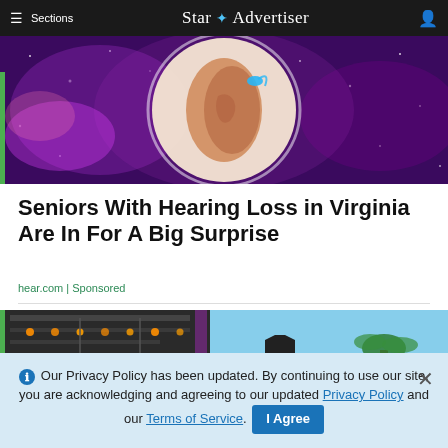≡ Sections   Star ✦ Advertiser
[Figure (photo): Close-up of a human ear with a hearing aid device against a purple galaxy/space background with stars]
Seniors With Hearing Loss in Virginia Are In For A Big Surprise
hear.com | Sponsored
[Figure (photo): Outdoor event or festival scene with stage lighting equipment, a purple light, black octagonal sign, and palm trees against a blue sky]
ℹ Our Privacy Policy has been updated. By continuing to use our site, you are acknowledging and agreeing to our updated Privacy Policy and our Terms of Service. I Agree